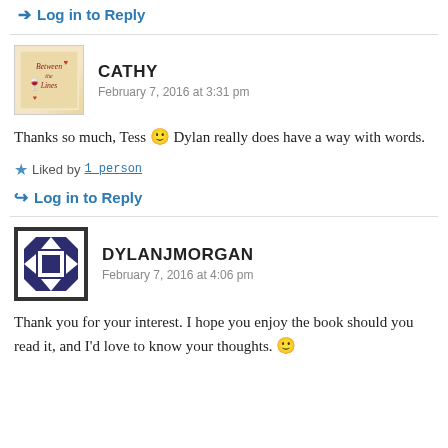➔ Log in to Reply
CATHY
February 7, 2016 at 3:31 pm
Thanks so much, Tess 🙂 Dylan really does have a way with words.
★ Liked by 1 person
↪ Log in to Reply
DYLANJMORGAN
February 7, 2016 at 4:06 pm
Thank you for your interest. I hope you enjoy the book should you read it, and I'd love to know your thoughts. 🙂